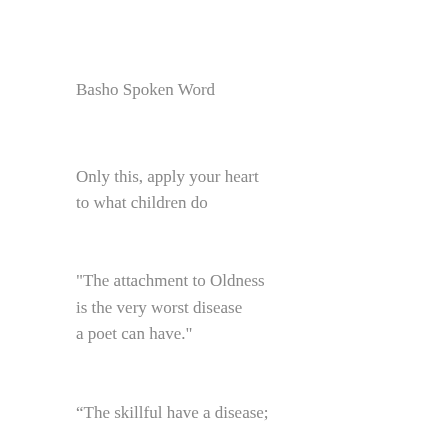Basho Spoken Word
Only this, apply your heart
to what children do
"The attachment to Oldness
is the very worst disease
a poet can have."
“The skillful have a disease;